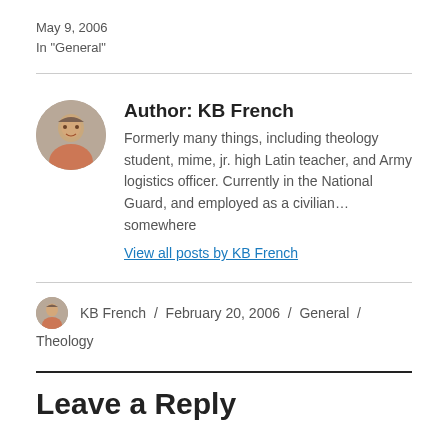May 9, 2006
In "General"
Author: KB French
Formerly many things, including theology student, mime, jr. high Latin teacher, and Army logistics officer. Currently in the National Guard, and employed as a civilian… somewhere
View all posts by KB French
KB French / February 20, 2006 / General / Theology
Leave a Reply